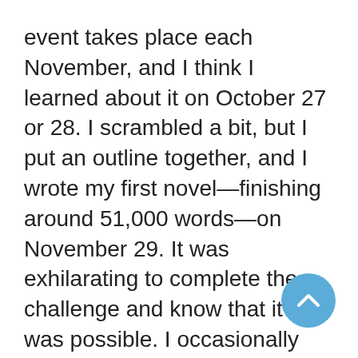event takes place each November, and I think I learned about it on October 27 or 28. I scrambled a bit, but I put an outline together, and I wrote my first novel—finishing around 51,000 words—on November 29. It was exhilarating to complete the challenge and know that it truly was possible. I occasionally tinker with that novel, but it is far from ready for publication! Perhaps someday.
RH: You participated in NaNoWriMo before having a baby and again after. How different was your second NaNoWriMo experience after the birth of your child? What, if any, changes did you make to your approach from the first time you participated?